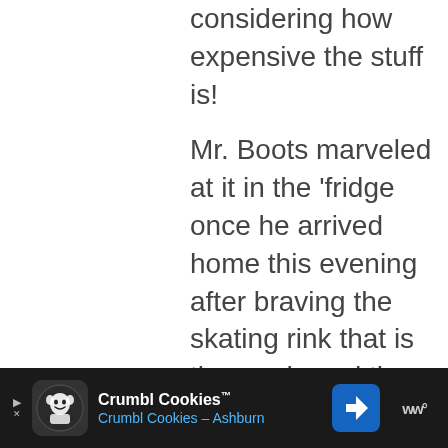considering how expensive the stuff is!
Mr. Boots marveled at it in the 'fridge once he arrived home this evening after braving the skating rink that is the roads and the freak show that is Walmart.
We got 24"+ of snow, so it's, shall we say, interesting...
[Figure (other): Advertisement bar for Crumbl Cookies with logo, title 'Crumbl Cookies™', subtitle 'Crumbl Cookies - Ashburn', navigation arrow icon, and Waze logo on dark background]